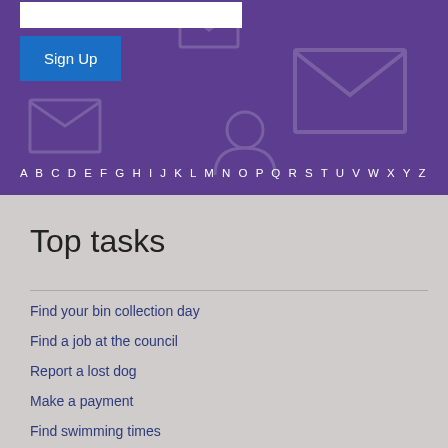[Figure (screenshot): Purple banner section with envelope icons in background, a Sign Up button, and alphabet navigation row A B C D E F G H I J K L M N O P Q R S T U V W X Y Z]
Top tasks
Find your bin collection day
Find a job at the council
Report a lost dog
Make a payment
Find swimming times